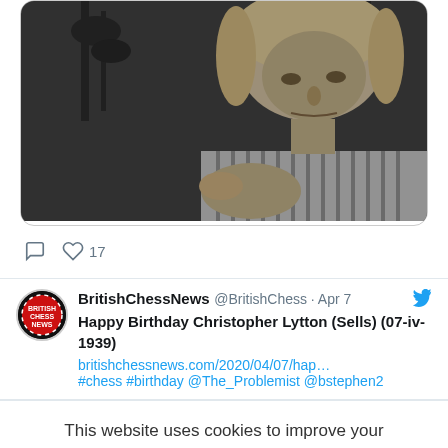[Figure (photo): Black and white photograph of a young man with light hair, leaning forward, wearing a striped shirt, with decorative background]
17
BritishChessNews @BritishChess · Apr 7
Happy Birthday Christopher Lytton (Sells) (07-iv-1939)
britishchessnews.com/2020/04/07/hap…
#chess #birthday @The_Problemist @bstephen2
This website uses cookies to improve your experience. We'll assume you're ok with this, but you can opt-out if you wish.
Cookie settings
ACCEPT